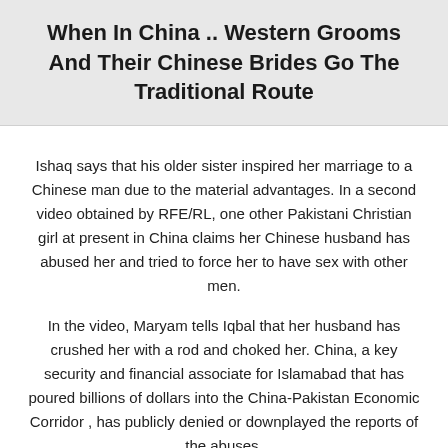When In China .. Western Grooms And Their Chinese Brides Go The Traditional Route
Ishaq says that his older sister inspired her marriage to a Chinese man due to the material advantages. In a second video obtained by RFE/RL, one other Pakistani Christian girl at present in China claims her Chinese husband has abused her and tried to force her to have sex with other men.
In the video, Maryam tells Iqbal that her husband has crushed her with a rod and choked her. China, a key security and financial associate for Islamabad that has poured billions of dollars into the China-Pakistan Economic Corridor , has publicly denied or downplayed the reports of the abuses.